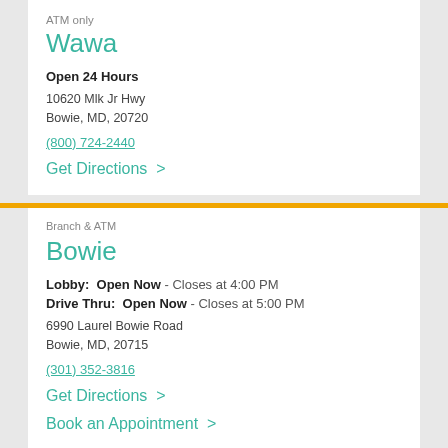ATM only
Wawa
Open 24 Hours
10620 Mlk Jr Hwy
Bowie, MD, 20720
(800) 724-2440
Get Directions  >
Branch & ATM
Bowie
Lobby:  Open Now - Closes at 4:00 PM
Drive Thru:  Open Now - Closes at 5:00 PM
6990 Laurel Bowie Road
Bowie, MD, 20715
(301) 352-3816
Get Directions  >
Book an Appointment  >